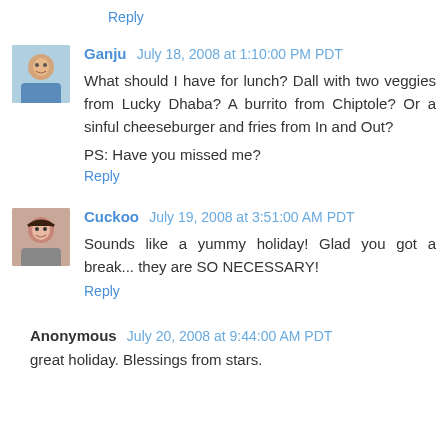Reply
Ganju  July 18, 2008 at 1:10:00 PM PDT
What should I have for lunch? Dall with two veggies from Lucky Dhaba? A burrito from Chiptole? Or a sinful cheeseburger and fries from In and Out?

PS: Have you missed me?
Reply
Cuckoo  July 19, 2008 at 3:51:00 AM PDT
Sounds like a yummy holiday! Glad you got a break... they are SO NECESSARY!
Reply
Anonymous  July 20, 2008 at 9:44:00 AM PDT
great holiday. Blessings from stars.